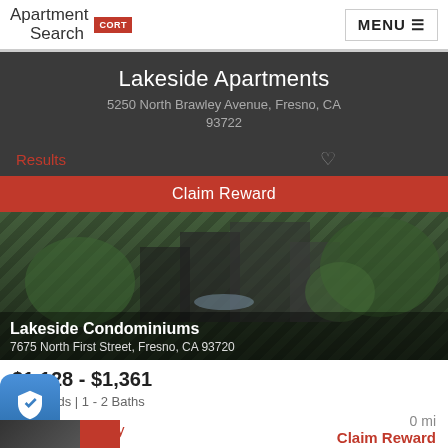Apartment Search CORT | MENU
Lakeside Apartments
5250 North Brawley Avenue, Fresno, CA 93722
Results
Claim Reward
[Figure (photo): Exterior photo of Lakeside Condominiums showing building with lush greenery and water feature]
Lakeside Condominiums
7675 North First Street, Fresno, CA 93720
$1,128 - $1,361
1 - 2 Beds | 1 - 2 Baths
0 mi
Contact Property
Claim Reward